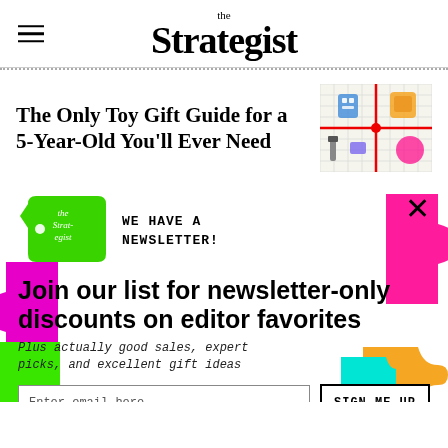the Strategist
The Only Toy Gift Guide for a 5-Year-Old You'll Ever Need
[Figure (photo): Grid image showing various toys including a robot, figurines, a ball, and other items arranged in quadrants with a red cross divider]
[Figure (logo): Green price-tag shaped logo with 'the Strategist' written in white text]
WE HAVE A NEWSLETTER!
Join our list for newsletter-only discounts on editor favorites
Plus actually good sales, expert picks, and excellent gift ideas
Enter email here
SIGN ME UP
NO THANKS